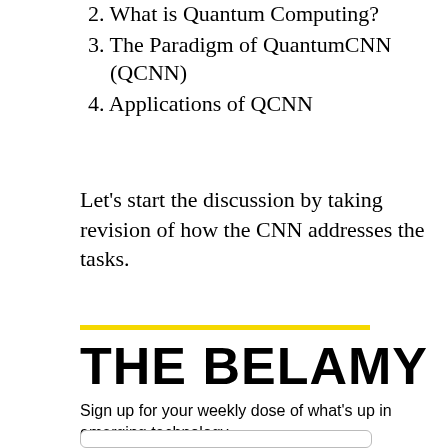2. What is Quantum Computing?
3. The Paradigm of QuantumCNN (QCNN)
4. Applications of QCNN
Let’s start the discussion by taking revision of how the CNN addresses the tasks.
THE BELAMY
Sign up for your weekly dose of what’s up in emerging technology.